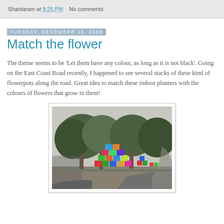Shantaram at 9:25 PM   No comments:
Tuesday, December 16, 2008
Match the flower
The theme seems to be 'Let them have any colour, as long as it is not black'. Going on the East Coast Road recently, I happened to see several stacks of these kind of flowerpots along the road. Great idea to match these indoor planters with the colours of flowers that grow in them!
[Figure (photo): Photo taken from inside a car showing stacks of colourful flowerpots along the East Coast Road, with trees in the background. The flowerpots are vividly coloured in red, blue, green, yellow and other colours, stacked in a diamond pattern display by the roadside.]